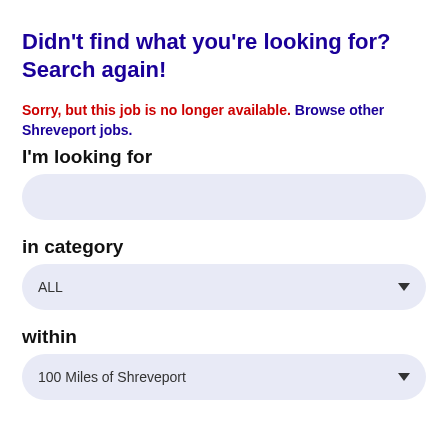Didn't find what you're looking for? Search again!
Sorry, but this job is no longer available. Browse other Shreveport jobs.
I'm looking for
[Figure (other): Empty search input field with light blue rounded background]
in category
[Figure (other): Dropdown select box showing 'ALL' with down arrow]
within
[Figure (other): Dropdown select box showing '100 Miles of Shreveport' with down arrow]